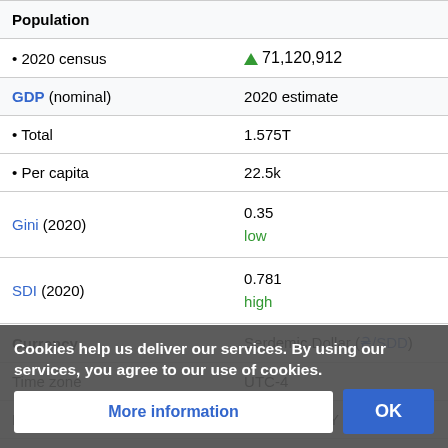| Category | Value |
| --- | --- |
| Population |  |
| • 2020 census | ▲ 71,120,912 |
| GDP (nominal) | 2020 estimate |
| • Total | 1.575T |
| • Per capita | 22.5k |
| Gini (2020) | 0.35
low |
| SDI (2020) | 0.781
high |
| Currency | Serdemic Dollar (₴/SDD) |
| Time zone | UTC-4 |
| Date format | DD/MM/YYYY |
| Driving side |  |
Cookies help us deliver our services. By using our services, you agree to our use of cookies.
More information
OK